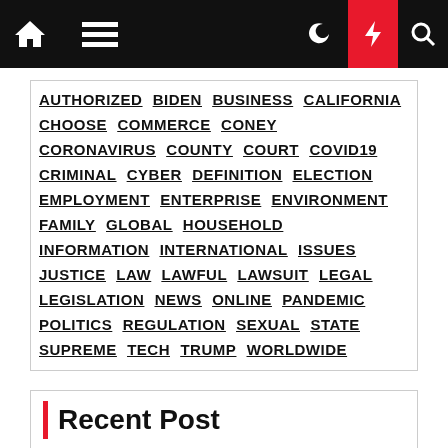Navigation bar with home, menu, moon, lightning, search icons
AUTHORIZED BIDEN BUSINESS CALIFORNIA CHOOSE COMMERCE CONEY CORONAVIRUS COUNTY COURT COVID19 CRIMINAL CYBER DEFINITION ELECTION EMPLOYMENT ENTERPRISE ENVIRONMENT FAMILY GLOBAL HOUSEHOLD INFORMATION INTERNATIONAL ISSUES JUSTICE LAW LAWFUL LAWSUIT LEGAL LEGISLATION NEWS ONLINE PANDEMIC POLITICS REGULATION SEXUAL STATE SUPREME TECH TRUMP WORLDWIDE
Recent Post